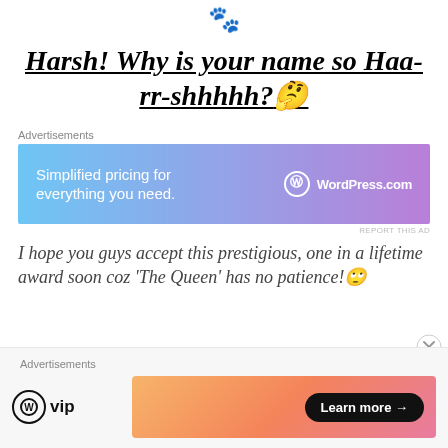[Figure (illustration): Small circular icon at top center of page]
Harsh! Why is your name so Haa-rr-shhhhh?🤔
Advertisements
[Figure (other): WordPress.com advertisement banner with gradient background: 'Simplified pricing for everything you need. WordPress.com']
REPORT THIS AD
I hope you guys accept this prestigious, one in a lifetime award soon coz 'The Queen' has no patience!🙄
Advertisements
[Figure (other): WordPress VIP logo on left, orange/pink gradient ad banner on right with 'Learn more →' button]